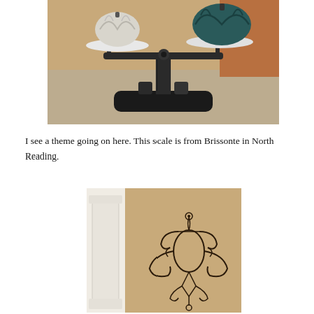[Figure (photo): A vintage balance scale with two white marble plates, each holding a decorative pumpkin — one white/grey on the left and one teal/dark on the right. The scale sits on a granite countertop with a wooden cabinet visible in the background.]
I see a theme going on here. This scale is from Brissonte in North Reading.
[Figure (photo): An interior room corner showing a white decorative column/pilaster on the left and an ornate wrought-iron wall art piece mounted on a beige/tan wall. The wall decoration features scrollwork and a cage-like center element.]